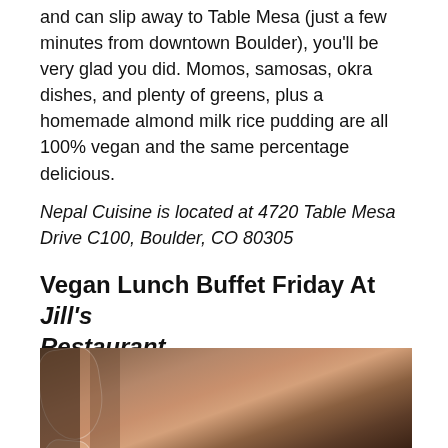and can slip away to Table Mesa (just a few minutes from downtown Boulder), you'll be very glad you did. Momos, samosas, okra dishes, and plenty of greens, plus a homemade almond milk rice pudding are all 100% vegan and the same percentage delicious.
Nepal Cuisine is located at 4720 Table Mesa Drive C100, Boulder, CO 80305
Vegan Lunch Buffet Friday At Jill's Restaurant
[Figure (photo): Photo of wine glasses and drinks on a dark wooden table surface, restaurant setting]